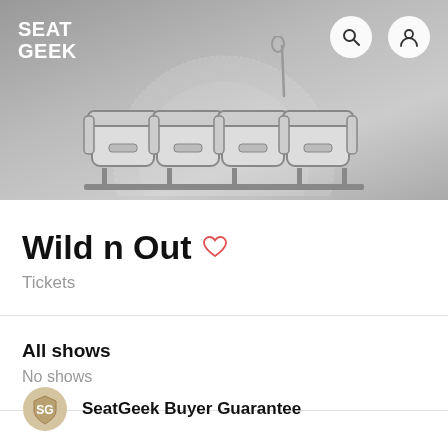SEAT GEEK
[Figure (illustration): Theater seats illustration — four gray outlined seats in a row on a light gray background with a dotted circle behind them]
Wild n Out
Tickets
All shows
No shows
SeatGeek Buyer Guarantee